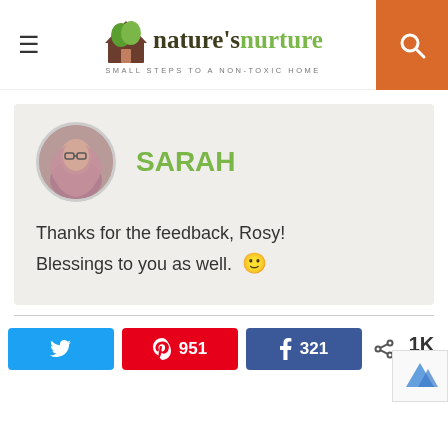nature's nurture — SMALL STEPS TO A NON-TOXIC HOME
SARAH
Thanks for the feedback, Rosy! Blessings to you as well. 🙂
951  321  1K SHARES